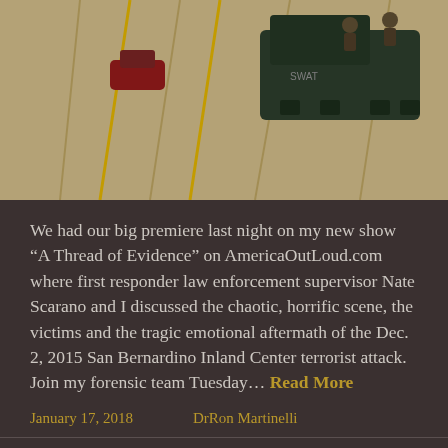[Figure (photo): Aerial view of law enforcement vehicles including a dark armored SWAT truck on a road, with officers visible.]
We had our big premiere last night on my new show “A Thread of Evidence” on AmericaOutLoud.com where first responder law enforcement supervisor Nate Scarano and I discussed the chaotic, horrific scene, the victims and the tragic emotional aftermath of the Dec. 2, 2015 San Bernardino Inland Center terrorist attack. Join my forensic team Tuesday… Read More
January 17, 2018    DrRon Martinelli
DrRon explains how Texas church killer